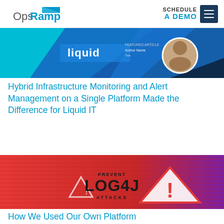OpsRamp — SCHEDULE A DEMO
[Figure (screenshot): Banner image for Liquid IT article showing a blue diagonal design with the word 'liquid' and a person's headshot]
Hybrid Infrastructure Monitoring and Alert Management on a Single Platform Made the Difference for Liquid IT
[Figure (screenshot): Banner image for Log4J article showing a red-to-purple gradient background with 'PREVENT LOG4J ATTACKS' text and warning triangle icons]
How We Used Our Own Platform